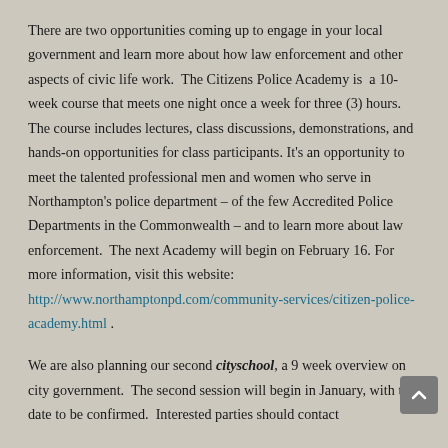There are two opportunities coming up to engage in your local government and learn more about how law enforcement and other aspects of civic life work.  The Citizens Police Academy is  a 10-week course that meets one night once a week for three (3) hours. The course includes lectures, class discussions, demonstrations, and hands-on opportunities for class participants. It's an opportunity to meet the talented professional men and women who serve in Northampton's police department – of the few Accredited Police Departments in the Commonwealth – and to learn more about law enforcement.  The next Academy will begin on February 16. For more information, visit this website: http://www.northamptonpd.com/community-services/citizen-police-academy.html .
We are also planning our second cityschool, a 9 week overview on city government.  The second session will begin in January, with the date to be confirmed.  Interested parties should contact the Mayor's office at 587-1249 or by email at...